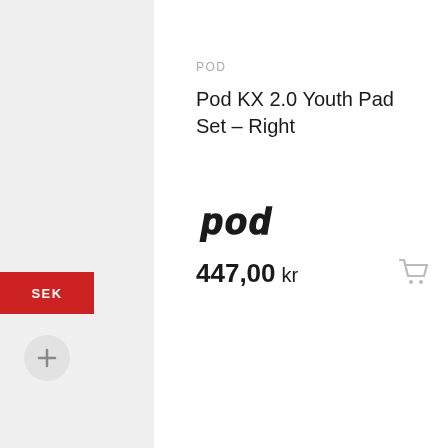POD
Pod KX 2.0 Youth Pad Set – Right
[Figure (logo): POD brand logo in stylized italic bold font]
447,00 kr
[Figure (photo): Black knee pad replacement parts for Pod KX 2.0 Youth Pad Set, showing rubber pads and straps on white background]